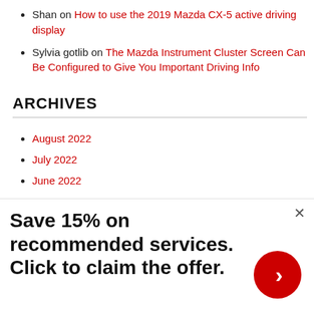Shan on How to use the 2019 Mazda CX-5 active driving display
Sylvia gotlib on The Mazda Instrument Cluster Screen Can Be Configured to Give You Important Driving Info
ARCHIVES
August 2022
July 2022
June 2022
[Figure (infographic): Advertisement banner: Save 15% on recommended services. Click to claim the offer. Red circular arrow button on the right. Close (x) button top right.]